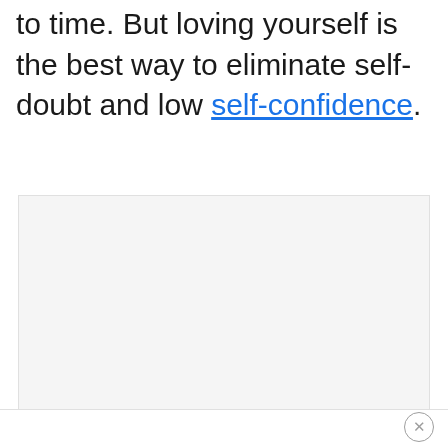to time. But loving yourself is the best way to eliminate self-doubt and low self-confidence.
[Figure (other): Advertisement placeholder box with light gray background and a close (X) button in the bottom right corner]